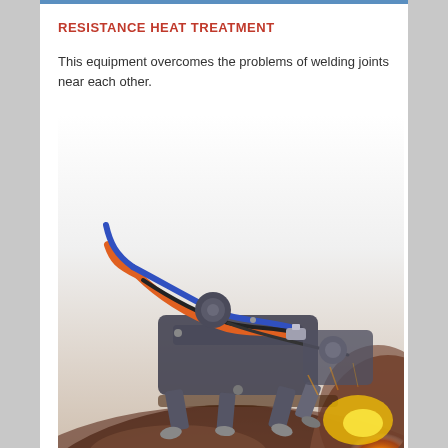RESISTANCE HEAT TREATMENT
This equipment overcomes the problems of welding joints near each other.
[Figure (photo): Industrial resistance heat treatment equipment with orange and blue hoses/cables attached to metal clamps on a curved steel pipe surface, with a bright orange flame visible at the lower right.]